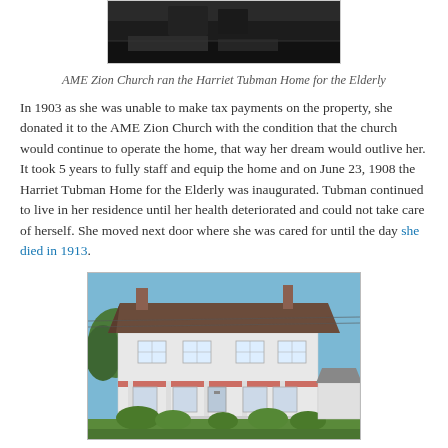[Figure (photo): Partial view of a dark building exterior, top portion cropped]
AME Zion Church ran the Harriet Tubman Home for the Elderly
In 1903 as she was unable to make tax payments on the property, she donated it to the AME Zion Church with the condition that the church would continue to operate the home, that way her dream would outlive her. It took 5 years to fully staff and equip the home and on June 23, 1908 the Harriet Tubman Home for the Elderly was inaugurated. Tubman continued to live in her residence until her health deteriorated and could not take care of herself. She moved next door where she was cared for until the day she died in 1913.
[Figure (photo): White two-story farmhouse with brown roof, front porch with columns, surrounded by shrubs and trees, blue sky background — the Harriet Tubman Home]